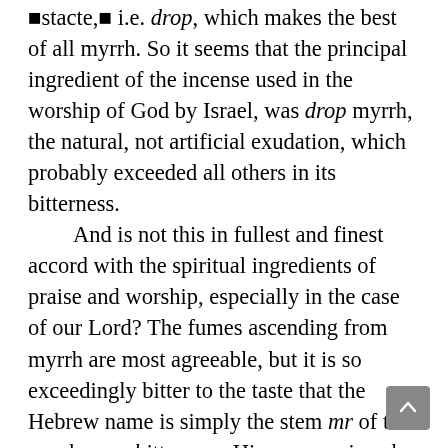stacte, i.e. drop, which makes the best of all myrrh. So it seems that the principal ingredient of the incense used in the worship of God by Israel, was drop myrrh, the natural, not artificial exudation, which probably exceeded all others in its bitterness.
And is not this in fullest and finest accord with the spiritual ingredients of praise and worship, especially in the case of our Lord? The fumes ascending from myrrh are most agreeable, but it is so exceedingly bitter to the taste that the Hebrew name is simply the stem mr of the word mrre, bitterness. His course, since he left the Father and began his messianic ministry, was bitterly bitter. His own brothers did not believe on Him. His neighbors tried to hurl Him to death. His people rejected Him. The scribes